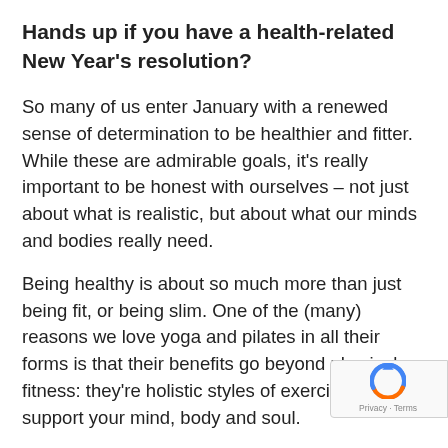Hands up if you have a health-related New Year's resolution?
So many of us enter January with a renewed sense of determination to be healthier and fitter. While these are admirable goals, it's really important to be honest with ourselves – not just about what is realistic, but about what our minds and bodies really need.
Being healthy is about so much more than just being fit, or being slim. One of the (many) reasons we love yoga and pilates in all their forms is that their benefits go beyond physical fitness: they're holistic styles of exercise that support your mind, body and soul.
TV's Emma Willis – presenter, mum of three, and now a fashion designer too – is no stranger to these benefits. She's just launched her debut sports...